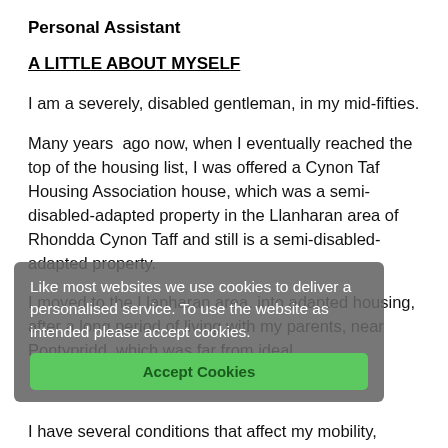Personal Assistant
A LITTLE ABOUT MYSELF
I am a severely, disabled gentleman, in my mid-fifties.
Many years ago now, when I eventually reached the top of the housing list, I was offered a Cynon Taf Housing Association house, which was a semi-disabled-adapted property in the Llanharan area of Rhondda Cynon Taff and still is a semi-disabled-adapted property.
Like most websites we use cookies to deliver a personalised service. To use the website as intended please accept cookies.
I moved to the Llanharan area, into adapted housing, after a long period of living with my parents, near Pontypridd, which was far from ideal.
Accept Cookies
I have several conditions that affect my mobility,